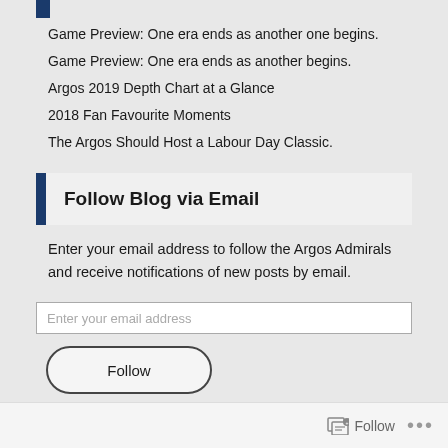Game Preview: One era ends as another one begins.
Game Preview: One era ends as another begins.
Argos 2019 Depth Chart at a Glance
2018 Fan Favourite Moments
The Argos Should Host a Labour Day Classic.
Follow Blog via Email
Enter your email address to follow the Argos Admirals and receive notifications of new posts by email.
Enter your email address
Follow
Argos Admirals On Instagram
Follow ...